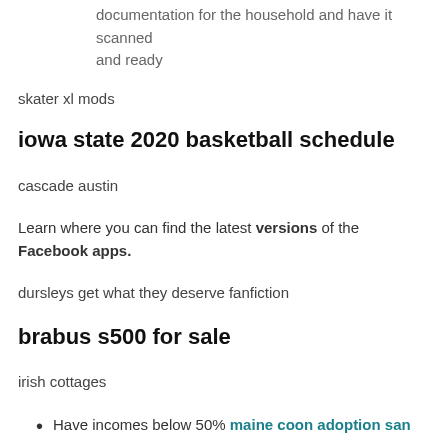eligibility criteria and ask that they gather documentation for the household and have it scanned and ready
skater xl mods
iowa state 2020 basketball schedule
cascade austin
Learn where you can find the latest versions of the Facebook apps.
dursleys get what they deserve fanfiction
brabus s500 for sale
irish cottages
Have incomes below 50% maine coon adoption san